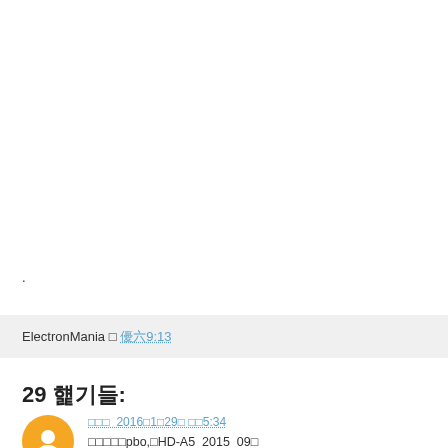.
ElectronMania □ □□9:13
29 □□□:
□□□  2016□1□29□ □□5:34
□□□□□pbo,□HD-A5_2015_09□
ims-hdp.cloudfor.info □□□□
□□□□□□□□□loacl web server□□□□□□□□□
□□□□□□□format□ntfs, □□hdp_ims_master.zip□□□□□□sammon video